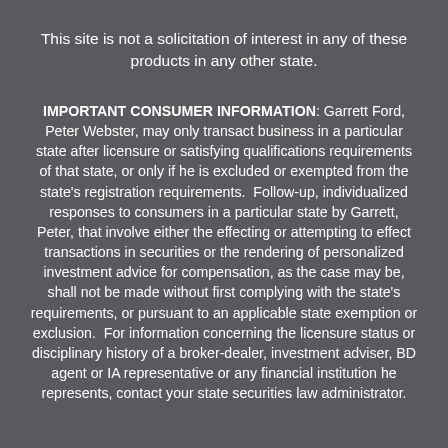This site is not a solicitation of interest in any of these products in any other state.
IMPORTANT CONSUMER INFORMATION: Garrett Ford, Peter Webster, may only transact business in a particular state after licensure or satisfying qualifications requirements of that state, or only if he is excluded or exempted from the state's registration requirements.  Follow-up, individualized responses to consumers in a particular state by Garrett, Peter, that involve either the effecting or attempting to effect transactions in securities or the rendering of personalized investment advice for compensation, as the case may be, shall not be made without first complying with the state's requirements, or pursuant to an applicable state exemption or exclusion.  For information concerning the licensure status or disciplinary history of a broker-dealer, investment adviser, BD agent or IA representative or any financial institution he represents, contact your state securities law administrator.